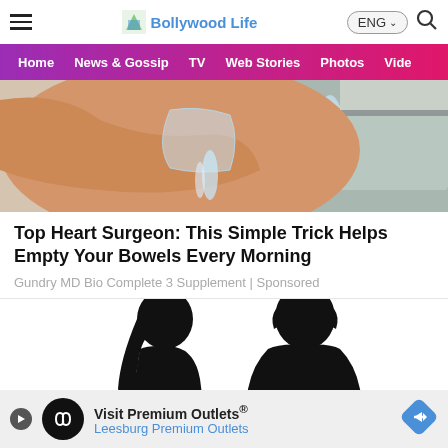Bollywood Life
[Figure (screenshot): Website navigation bar with hamburger menu, Bollywood Life logo, ENG language selector, and search icon]
[Figure (photo): Hand squeezing water from a plastic bag at a sink — article thumbnail image]
Top Heart Surgeon: This Simple Trick Helps Empty Your Bowels Every Morning
Gundry MD Bio Complete 3 Supplement | Sponsored
[Figure (photo): Silhouettes of a man and woman facing each other]
[Figure (screenshot): Bottom advertisement bar: Visit Premium Outlets® — Leesburg Premium Outlets]